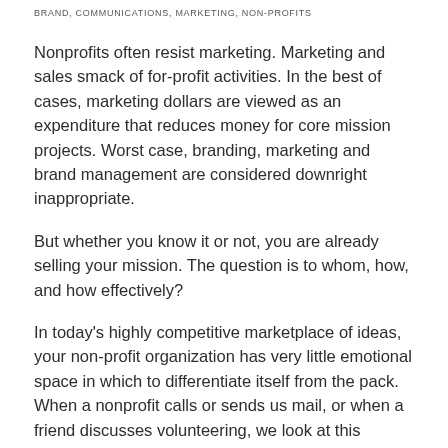BRAND, COMMUNICATIONS, MARKETING, NON-PROFITS
Nonprofits often resist marketing. Marketing and sales smack of for-profit activities. In the best of cases, marketing dollars are viewed as an expenditure that reduces money for core mission projects. Worst case, branding, marketing and brand management are considered downright inappropriate.
But whether you know it or not, you are already selling your mission. The question is to whom, how, and how effectively?
In today's highly competitive marketplace of ideas, your non-profit organization has very little emotional space in which to differentiate itself from the pack. When a nonprofit calls or sends us mail, or when a friend discusses volunteering, we look at this request not just against a backdrop of all our nonprofit investments but